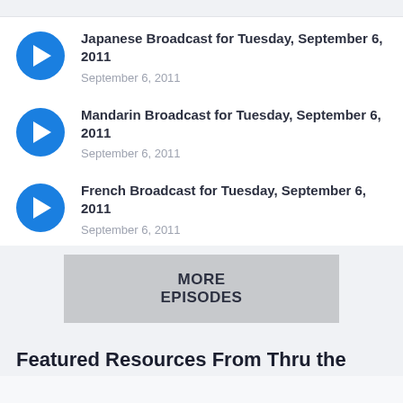Japanese Broadcast for Tuesday, September 6, 2011
September 6, 2011
Mandarin Broadcast for Tuesday, September 6, 2011
September 6, 2011
French Broadcast for Tuesday, September 6, 2011
September 6, 2011
MORE EPISODES
Featured Resources From Thru the